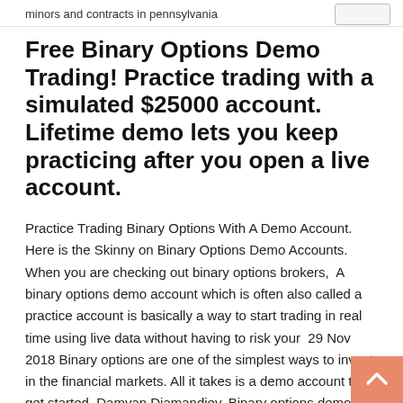minors and contracts in pennsylvania
Free Binary Options Demo Trading! Practice trading with a simulated $25000 account. Lifetime demo lets you keep practicing after you open a live account.
Practice Trading Binary Options With A Demo Account. Here is the Skinny on Binary Options Demo Accounts. When you are checking out binary options brokers,  A binary options demo account which is often also called a practice account is basically a way to start trading in real time using live data without having to risk your  29 Nov 2018 Binary options are one of the simplest ways to invest in the financial markets. All it takes is a demo account to get started. Damyan Diamandiev. Binary options demo accounts are completely free and are considered as one